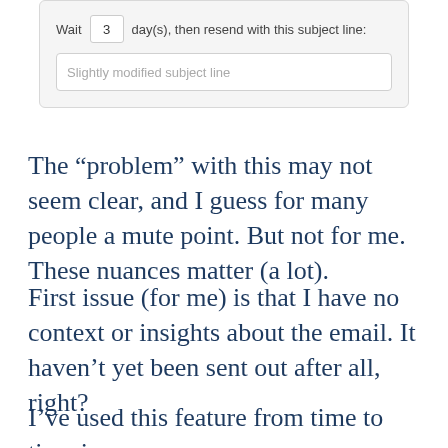[Figure (screenshot): UI widget showing: Wait [3] day(s), then resend with this subject line: [Slightly modified subject line]]
The “problem” with this may not seem clear, and I guess for many people a mute point. But not for me. These nuances matter (a lot).
First issue (for me) is that I have no context or insights about the email. It haven’t yet been sent out after all, right?
I’ve used this feature from time to time in